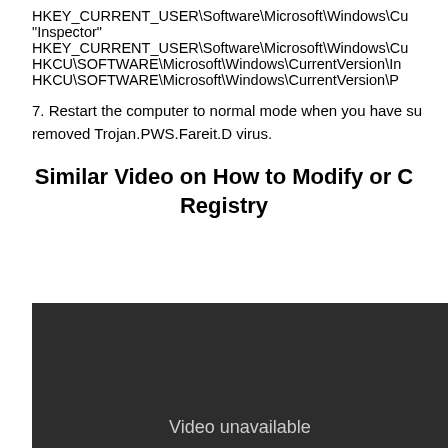HKEY_CURRENT_USER\Software\Microsoft\Windows\Cu
"Inspector"
HKEY_CURRENT_USER\Software\Microsoft\Windows\Cu
HKCU\SOFTWARE\Microsoft\Windows\CurrentVersion\In
HKCU\SOFTWARE\Microsoft\Windows\CurrentVersion\P
7. Restart the computer to normal mode when you have successfully removed Trojan.PWS.Fareit.D virus.
Similar Video on How to Modify or Change Registry
[Figure (screenshot): Dark video player showing 'Video unavailable' message]